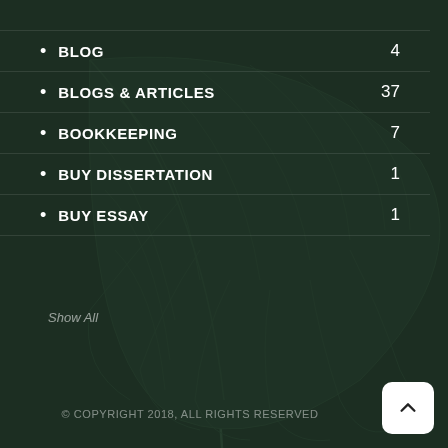BLOG  4
BLOGS & ARTICLES  37
BOOKKEEPING  7
BUY DISSERTATION  1
BUY ESSAY  1
Show All
© COPYRIGHT 2018, ALL RIGHTS RESERVED